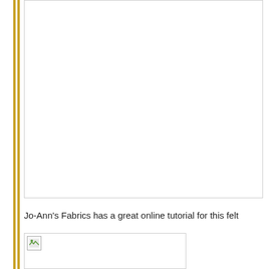[Figure (other): Large empty white image box with light gray border, taking up top portion of page]
Jo-Ann's Fabrics has a great online tutorial for this felt
[Figure (photo): Small image placeholder with broken image icon in top left corner]